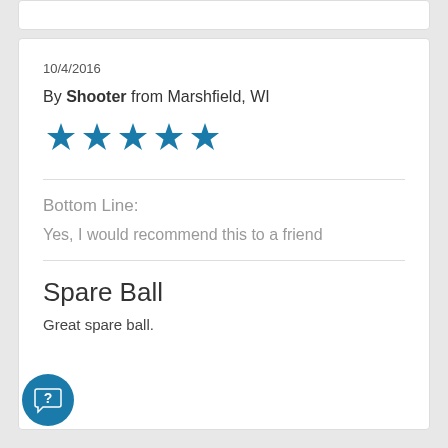10/4/2016
By Shooter from Marshfield, WI
[Figure (other): Five filled blue stars rating]
Bottom Line:
Yes, I would recommend this to a friend
Spare Ball
Great spare ball.
[Figure (other): Blue circular help/chat button with question mark icon in bottom left corner]